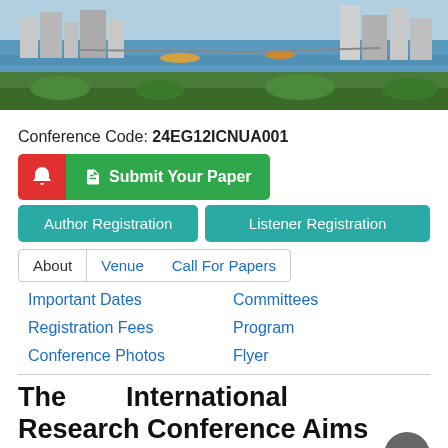[Figure (photo): Aerial cityscape photo showing a river with boats, city buildings, bridges and green areas — likely Cairo, Egypt.]
Conference Code: 24EG12ICNUA001
Submit Your Paper
Author Registration
Listener Registration
About    Venue    Call For Papers
Important Dates    Committees
Registration Fees    Program
Conference Photos    Flyer
The International Research Conference Aims and Objectives